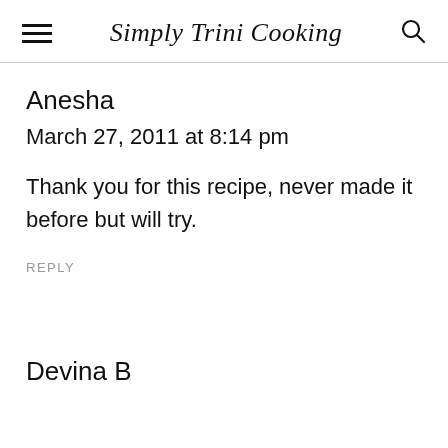Simply Trini Cooking
Anesha
March 27, 2011 at 8:14 pm
Thank you for this recipe, never made it before but will try.
REPLY
Devina B